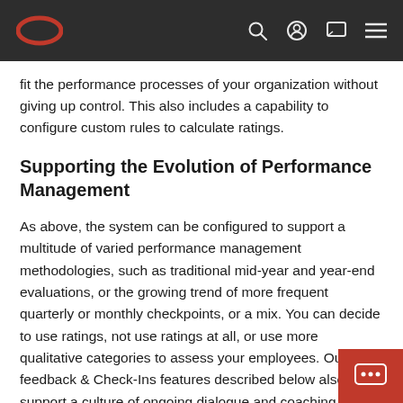Oracle logo and navigation bar with search, user, chat, and menu icons
fit the performance processes of your organization without giving up control. This also includes a capability to configure custom rules to calculate ratings.
Supporting the Evolution of Performance Management
As above, the system can be configured to support a multitude of varied performance management methodologies, such as traditional mid-year and year-end evaluations, or the growing trend of more frequent quarterly or monthly checkpoints, or a mix. You can decide to use ratings, not use ratings at all, or use more qualitative categories to assess your employees. Our feedback & Check-Ins features described below also support a culture of ongoing dialogue and coaching throughout the year. Performance Management is seamlessly integrated with Workforce Compensation to support the link between achievement and reward.